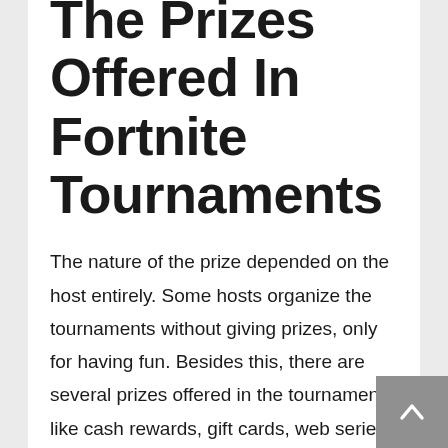The Prizes Offered In Fortnite Tournaments
The nature of the prize depended on the host entirely. Some hosts organize the tournaments without giving prizes, only for having fun. Besides this, there are several prizes offered in the tournament like cash rewards, gift cards, web series platform subscription codes, etc.
Who Are Eligible In Participating